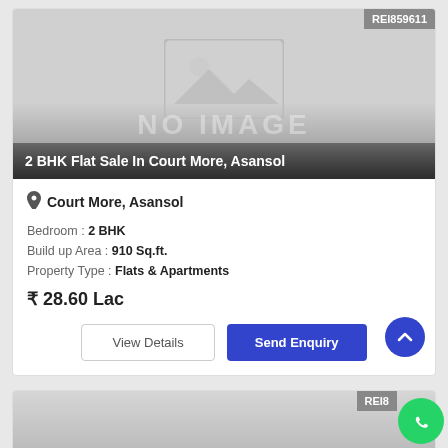[Figure (photo): No image placeholder for property listing card]
2 BHK Flat Sale In Court More, Asansol
Court More, Asansol
Bedroom : 2 BHK
Build up Area : 910 Sq.ft.
Property Type : Flats & Apartments
₹ 28.60 Lac
[Figure (screenshot): Partial second property listing card with REI badge]